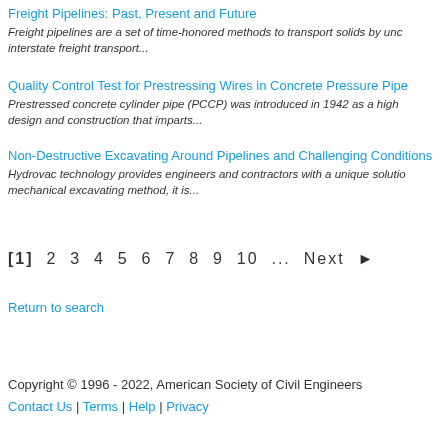Freight Pipelines: Past, Present and Future
Freight pipelines are a set of time-honored methods to transport solids by unc interstate freight transport...
Quality Control Test for Prestressing Wires in Concrete Pressure Pipe
Prestressed concrete cylinder pipe (PCCP) was introduced in 1942 as a high design and construction that imparts...
Non-Destructive Excavating Around Pipelines and Challenging Conditions
Hydrovac technology provides engineers and contractors with a unique solutio mechanical excavating method, it is...
[1] 2 3 4 5 6 7 8 9 10 ... Next ▶
Return to search
Copyright © 1996 - 2022, American Society of Civil Engineers
Contact Us | Terms | Help | Privacy